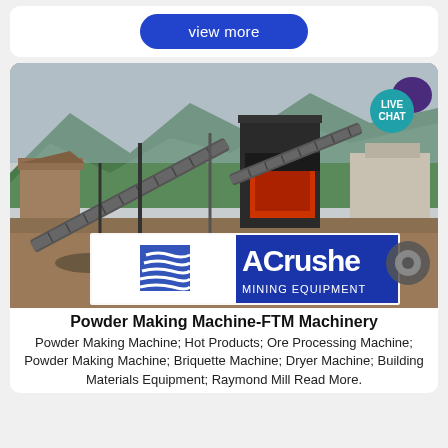view more
[Figure (photo): Industrial mining/crushing equipment with conveyor belts and a crusher machine, set against a mountain backdrop. An ACrusher Mining Equipment logo is overlaid at the bottom of the image.]
Powder Making Machine-FTM Machinery
Powder Making Machine; Hot Products; Ore Processing Machine; Powder Making Machine; Briquette Machine; Dryer Machine; Building Materials Equipment; Raymond Mill Read More.